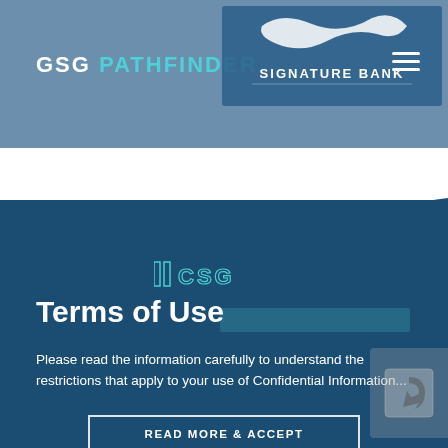GSG PATHFINDER | SIGNATURE BANK
[Figure (logo): Signature Bank logo with cursive signature and text 'SIGNATURE BANK' in blue]
Terms of Use
Please read the information carefully to understand the restrictions that apply to your use of Confidential Information...
READ MORE & ACCEPT